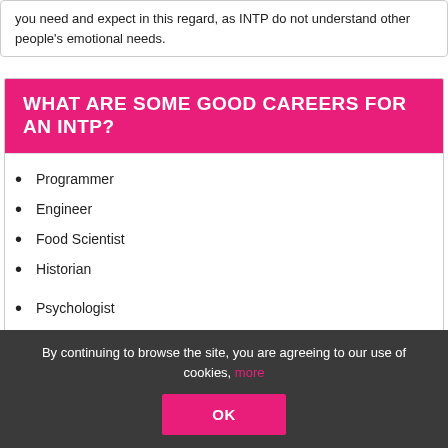you need and expect in this regard, as INTP do not understand other people's emotional needs.
WHAT ARE SOME GOOD CAREERS FOR AN INTP?
Programmer
Engineer
Food Scientist
Historian
Psychologist
Lawyer
Top Executive
Art Director
By continuing to browse the site, you are agreeing to our use of cookies, more
OK